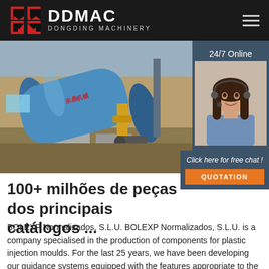DDMAC DONGDING MACHINERY
[Figure (photo): Industrial rotary drum dryer machine (large blue cylinder) inside a factory building with yellow mechanical supports, concrete base, and machinery in background. Right side shows a 24/7 online customer service agent (woman with headset) panel.]
100+ milhões de peças dos principais catálogos ...
BOLEXP Normalizados, S.L.U. BOLEXP Normalizados, S.L.U. is a company specialised in the production of components for plastic injection moulds. For the last 25 years, we have been developing our guidance systems equipped with the features appropriate to the extreme conditions of